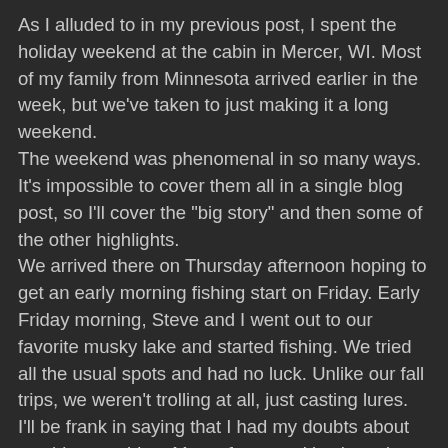As I alluded to in my previous post, I spent the holiday weekend at the cabin in Mercer, WI. Most of my family from Minnesota arrived earlier in the week, but we've taken to just making it a long weekend.
The weekend was phenomenal in so many ways. It's impossible to cover them all in a single blog post, so I'll cover the "big story" and then some of the other highlights.
We arrived there on Thursday afternoon hoping to get an early morning fishing start on Friday. Early Friday morning, Steve and I went out to our favorite musky lake and started fishing. We tried all the usual spots and had no luck. Unlike our fall trips, we weren't trolling at all, just casting lures. I'll be frank in saying that I had my doubts about catching anything. Most of my muskies have been caught on suckers.
After about 3 hours of nothing we tried a quiet bay. Steve was intent on getting some bass fishing in and the area looked